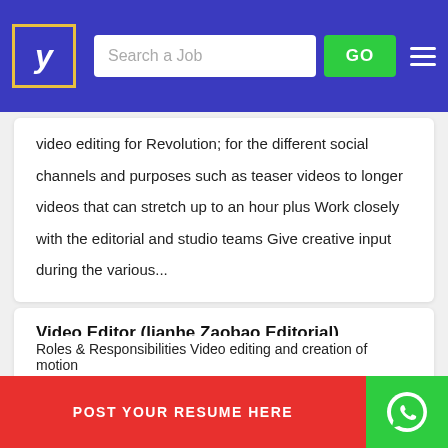Job search site header with logo, search bar, GO button, and hamburger menu
video editing for Revolution; for the different social channels and purposes such as teaser videos to longer videos that can stretch up to an hour plus Work closely with the editorial and studio teams Give creative input during the various...
Video Editor (lianhe Zaobao Editorial)
Sph Media Limited
Location : Singapore
State :
POST YOUR RESUME HERE
Roles & Responsibilities Video editing and creation of motion